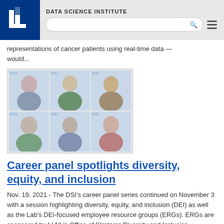DATA SCIENCE INSTITUTE
representations of cancer patients using real-time data — would...
[Figure (photo): Grid of six headshot photos of career panel participants arranged in two rows of three, shown on a video call interface with DSI/OSLI watermarks]
Career panel spotlights diversity, equity, and inclusion
Nov. 19, 2021 - The DSI's career panel series continued on November 3 with a session highlighting diversity, equity, and inclusion (DEI) as well as the Lab's DEI-focused employee resource groups (ERGs). ERGs are sponsored by LLNL's Office of Strategic Diversity and Inclusion Programs. Moderator Anh Quach, member of the Asian Pacific American Council (APAC), was joined by four panelists: Paul Viera Mercado...